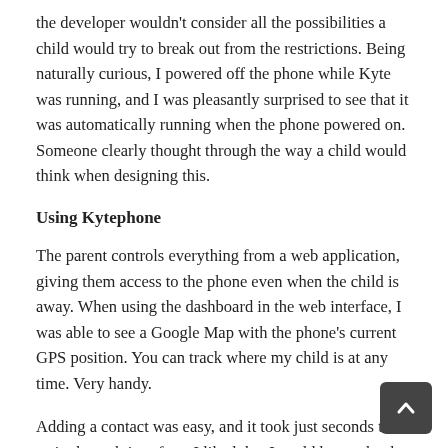the developer wouldn't consider all the possibilities a child would try to break out from the restrictions. Being naturally curious, I powered off the phone while Kyte was running, and I was pleasantly surprised to see that it was automatically running when the phone powered on. Someone clearly thought through the way a child would think when designing this.
Using Kytephone
The parent controls everything from a web application, giving them access to the phone even when the child is away. When using the dashboard in the web interface, I was able to see a Google Map with the phone's current GPS position. You can track where my child is at any time. Very handy.
Adding a contact was easy, and it took just seconds to do so in the web interface. I liked that I could have a bank of contacts that I could create but not necessarily give access to at that time. This would allow me to customize the phone for a child for that day or week. I do wish I could import contacts from the phone itself, though.